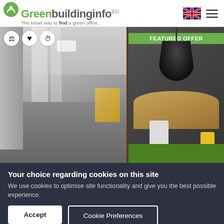Greenbuildinginfo.eu — The smart way to find a green office.
[Figure (screenshot): Split office interior photo: left side shows a glass-walled corridor with grey floor and yellow chairs visible in background; right side shows a modern meeting room with black pendant lamp, oval wooden table, white and yellow chairs on green carpet. Icons for compare, favourite, history in top-left of image. 'FEATURED OFFER' green badge top-right of right panel.]
Your choice regarding cookies on this site
We use cookies to optimise site functionality and give you the best possible experience.
Accept
Cookie Preferences